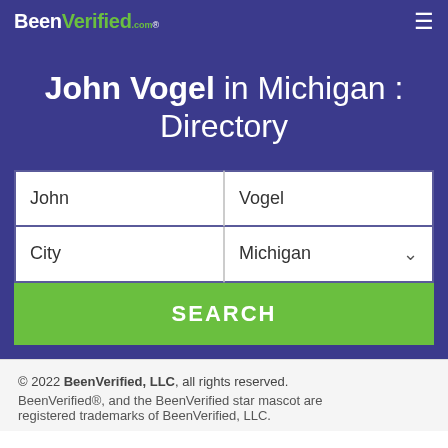BeenVerified.com
John Vogel in Michigan : Directory
John | Vogel
City | Michigan
SEARCH
© 2022 BeenVerified, LLC, all rights reserved. BeenVerified®, and the BeenVerified star mascot are registered trademarks of BeenVerified, LLC.